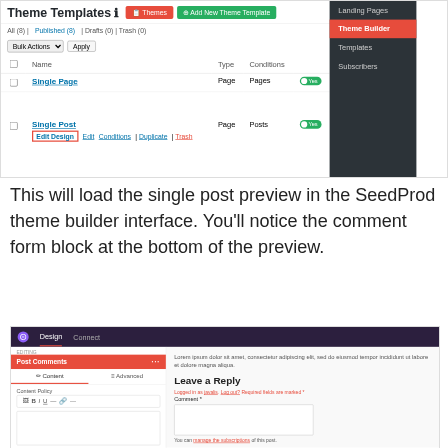[Figure (screenshot): WordPress Theme Templates admin page showing Theme Builder navigation with 'Single Post' row expanded, highlighting 'Edit Design' button with red outline. Right sidebar shows Landing Pages, Theme Builder, Templates, Subscribers nav items.]
This will load the single post preview in the SeedProd theme builder interface. You'll notice the comment form block at the bottom of the preview.
[Figure (screenshot): SeedProd theme builder interface showing Design and Connect tabs at top, left panel with Post Comments block selected, Content/Advanced tabs, Content Policy text editor toolbar, and right panel showing Lorem ipsum text, Leave a Reply heading, comment form with text area, and bottom text about managing subscriptions.]